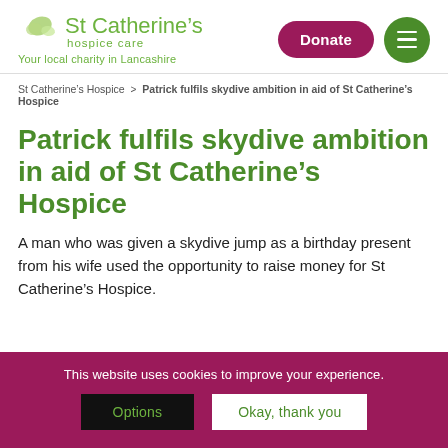[Figure (logo): St Catherine's hospice care logo with green butterfly and text, tagline 'Your local charity in Lancashire']
[Figure (other): Donate button (maroon pill shape) and hamburger menu button (green circle)]
St Catherine's Hospice > Patrick fulfils skydive ambition in aid of St Catherine's Hospice
Patrick fulfils skydive ambition in aid of St Catherine's Hospice
A man who was given a skydive jump as a birthday present from his wife used the opportunity to raise money for St Catherine's Hospice.
This website uses cookies to improve your experience.
Options
Okay, thank you